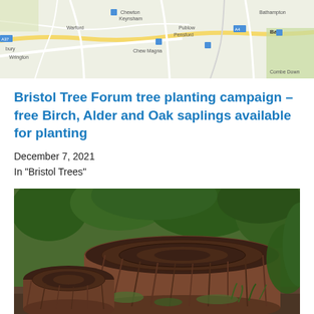[Figure (map): Street map showing area around Bath, Chew Magna, Keynsham, Bathampton, Warford, Publow, Pensford, and surrounding roads]
Bristol Tree Forum tree planting campaign – free Birch, Alder and Oak saplings available for planting
December 7, 2021
In "Bristol Trees"
[Figure (photo): Large tree stump with a smaller cut section beside it, surrounded by green foliage and undergrowth]